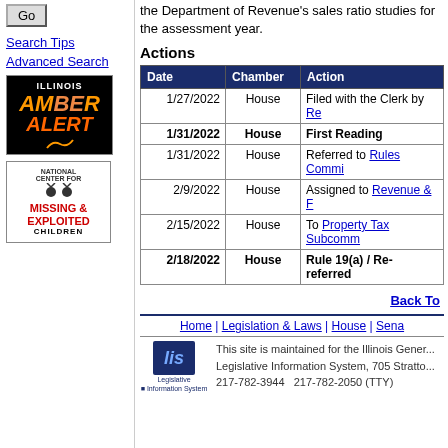Go (button)
Search Tips
Advanced Search
[Figure (logo): Illinois Amber Alert logo - black background with orange and yellow text]
[Figure (logo): National Center for Missing & Exploited Children logo]
the Department of Revenue's sales ratio studies for the assessment year.
Actions
| Date | Chamber | Action |
| --- | --- | --- |
| 1/27/2022 | House | Filed with the Clerk by Re... |
| 1/31/2022 | House | First Reading |
| 1/31/2022 | House | Referred to Rules Commi... |
| 2/9/2022 | House | Assigned to Revenue & F... |
| 2/15/2022 | House | To Property Tax Subcomm... |
| 2/18/2022 | House | Rule 19(a) / Re-referred... |
Back To
Home | Legislation & Laws | House | Sena...
This site is maintained for the Illinois Gener... Legislative Information System, 705 Stratto... 217-782-3944   217-782-2050 (TTY)